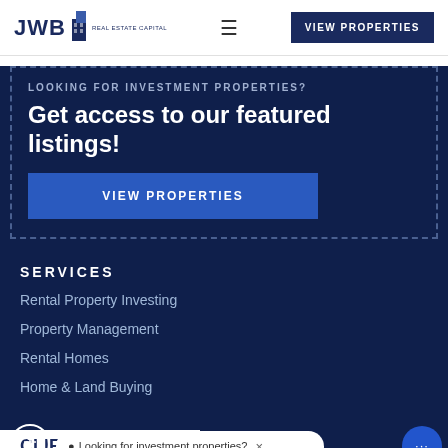JWB Real Estate Capital | VIEW PROPERTIES
LOOKING FOR INVESTMENT PROPERTIES?
Get access to our featured listings!
VIEW PROPERTIES
SERVICES
Rental Property Investing
Property Management
Rental Homes
Home & Land Buying
Looking for investment properties?
CLIENT LO